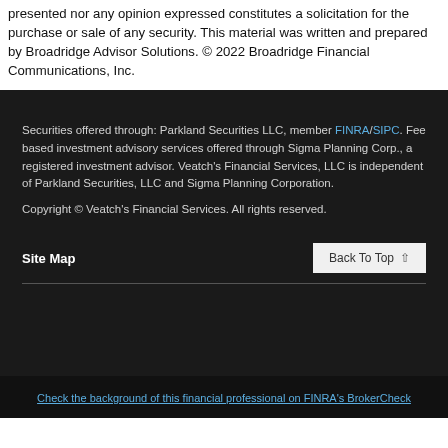presented nor any opinion expressed constitutes a solicitation for the purchase or sale of any security. This material was written and prepared by Broadridge Advisor Solutions. © 2022 Broadridge Financial Communications, Inc.
Securities offered through: Parkland Securities LLC, member FINRA/SIPC. Fee based investment advisory services offered through Sigma Planning Corp., a registered investment advisor. Veatch's Financial Services, LLC is independent of Parkland Securities, LLC and Sigma Planning Corporation.
Copyright © Veatch's Financial Services. All rights reserved.
Site Map
Back To Top
Check the background of this financial professional on FINRA's BrokerCheck